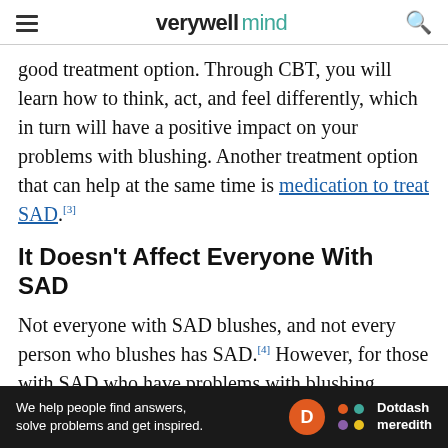verywell mind
good treatment option. Through CBT, you will learn how to think, act, and feel differently, which in turn will have a positive impact on your problems with blushing. Another treatment option that can help at the same time is medication to treat SAD. [3]
It Doesn't Affect Everyone With SAD
Not everyone with SAD blushes, and not every person who blushes has SAD. [4] However, for those with SAD who have problems with blushing, reddening of the face usually happens frequently.
When a person with SAD blushes, it usually goes
[Figure (screenshot): Advertisement banner: 'We help people find answers, solve problems and get inspired.' with Dotdash Meredith logo]